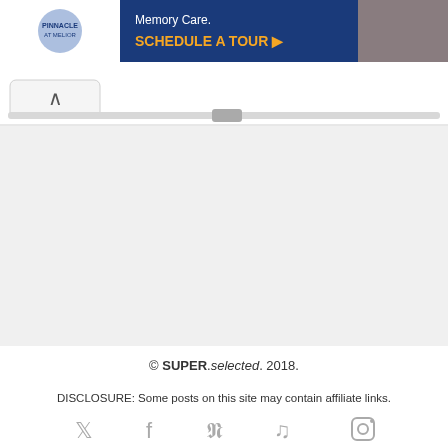[Figure (screenshot): Advertisement banner for memory care facility at Melior with 'SCHEDULE A TOUR' call-to-action in gold text on dark blue background]
[Figure (screenshot): Browser navigation tab with back (up arrow) button and scroll/progress bar below]
© SUPER.selected. 2018.
DISCLOSURE: Some posts on this site may contain affiliate links.
[Figure (infographic): Social media icons row: Twitter, Facebook, Pinterest, SoundCloud, Instagram]